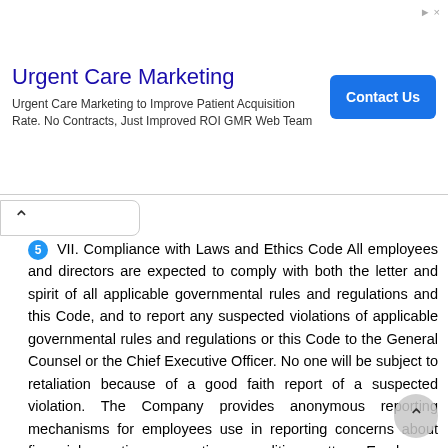[Figure (other): Advertisement banner for Urgent Care Marketing with title, subtitle text, and Contact Us button]
VII. Compliance with Laws and Ethics Code All employees and directors are expected to comply with both the letter and spirit of all applicable governmental rules and regulations and this Code, and to report any suspected violations of applicable governmental rules and regulations or this Code to the General Counsel or the Chief Executive Officer. No one will be subject to retaliation because of a good faith report of a suspected violation. The Company provides anonymous reporting mechanisms for employees use in reporting concerns about financial reporting, accounting or auditing matters. Employees who fail to comply with this Code or any applicable laws or regulations may be subject to disciplinary measures, up to and including discharge. No Rights Created This Code is a statement of certain fundamental principles, policies and procedures that govern the Company s employees and directors in the conduct of their roles on behalf of the